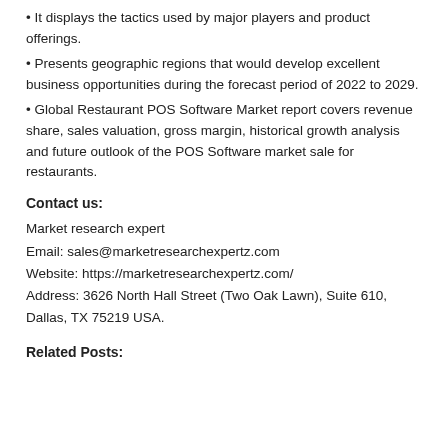• It displays the tactics used by major players and product offerings.
• Presents geographic regions that would develop excellent business opportunities during the forecast period of 2022 to 2029.
• Global Restaurant POS Software Market report covers revenue share, sales valuation, gross margin, historical growth analysis and future outlook of the POS Software market sale for restaurants.
Contact us:
Market research expert
Email: sales@marketresearchexpertz.com
Website: https://marketresearchexpertz.com/
Address: 3626 North Hall Street (Two Oak Lawn), Suite 610, Dallas, TX 75219 USA.
Related Posts: